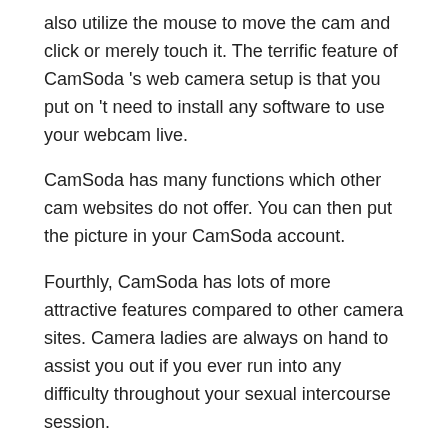also utilize the mouse to move the cam and click or merely touch it. The terrific feature of CamSoda 's web camera setup is that you put on 't need to install any software to use your webcam live.
CamSoda has many functions which other cam websites do not offer. You can then put the picture in your CamSoda account.
Fourthly, CamSoda has lots of more attractive features compared to other camera sites. Camera ladies are always on hand to assist you out if you ever run into any difficulty throughout your sexual intercourse session.
If you want a very excellent web cam experience, then you must go for the premium account in CamSoda. With a premium account in web cam site, you will get the highest quantity of visibility and reliability. With your premium account, you will likewise have access to a larger variety of webcam ladies. You will likewise have access to special features such as personal web cam shows,